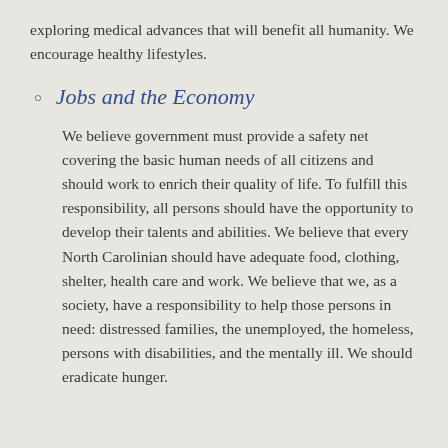exploring medical advances that will benefit all humanity. We encourage healthy lifestyles.
Jobs and the Economy

We believe government must provide a safety net covering the basic human needs of all citizens and should work to enrich their quality of life. To fulfill this responsibility, all persons should have the opportunity to develop their talents and abilities. We believe that every North Carolinian should have adequate food, clothing, shelter, health care and work. We believe that we, as a society, have a responsibility to help those persons in need: distressed families, the unemployed, the homeless, persons with disabilities, and the mentally ill.  We should eradicate hunger.